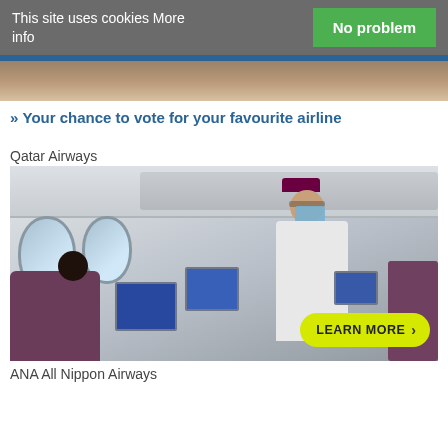This site uses cookies More info
No problem
[Figure (photo): Top portion of an airplane cabin interior photo, partially visible]
» Your chance to vote for your favourite airline
Qatar Airways
[Figure (photo): Qatar Airways flight attendant wearing a maroon hat and white uniform with blue face mask, standing in airplane cabin aisle attending to a passenger, with a LEARN MORE button overlay]
ANA All Nippon Airways